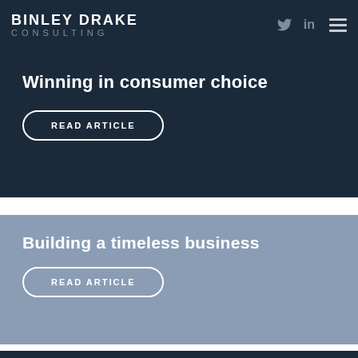BINLEY DRAKE CONSULTING
Winning in consumer choice
READ ARTICLE
Building a timeless business
READ ARTICLE